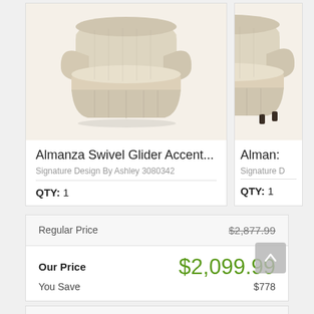[Figure (photo): Almanza Swivel Glider Accent Chair upholstered in beige/cream fabric, shown at angle, with rolled arms and skirted base]
Almanza Swivel Glider Accent...
Signature Design By Ashley 3080342
QTY: 1
[Figure (photo): Partial view of second Almanza chair, cropped at right edge]
Alman...
Signature D
QTY: 1
| Regular Price | $2,877.99 |
| Our Price | $2,099.99 |
| You Save | $778 |
Enter Zip Code *